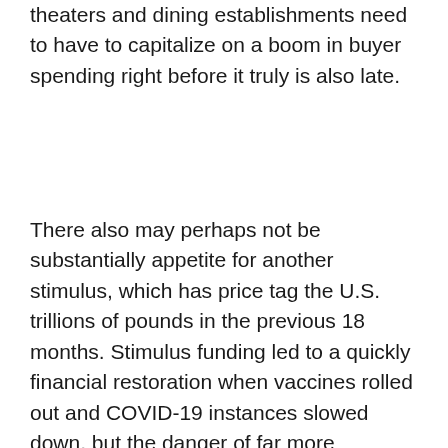theaters and dining establishments need to have to capitalize on a boom in buyer spending right before it truly is also late.
There also may perhaps not be substantially appetite for another stimulus, which has price tag the U.S. trillions of pounds in the previous 18 months. Stimulus funding led to a quickly financial restoration when vaccines rolled out and COVID-19 instances slowed down, but the danger of far more conditions could be fulfilled with additional resistance to stimulus this time around. That may perhaps imply the economic climate and amusement shares are remaining to fend for them selves, which could be highly-priced.